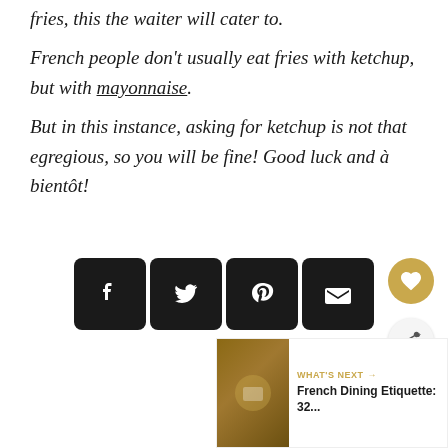fries, this the waiter will cater to. French people don't usually eat fries with ketchup, but with mayonnaise. But in this instance, asking for ketchup is not that egregious, so you will be fine! Good luck and à bientôt!
[Figure (other): Social sharing icons row: Facebook, Twitter, Pinterest, Email]
[Figure (other): Favorite (heart) button in gold circle and share button]
[Figure (other): What's Next panel with photo thumbnail and text: French Dining Etiquette: 32...]